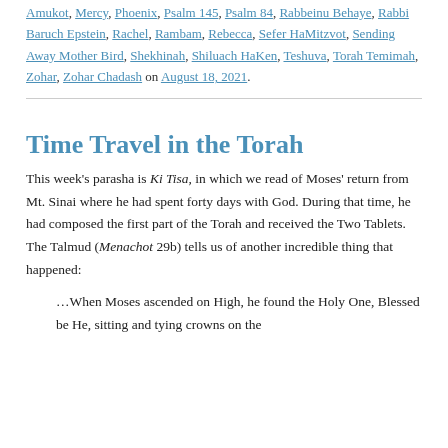Amukot, Mercy, Phoenix, Psalm 145, Psalm 84, Rabbeinu Behaye, Rabbi Baruch Epstein, Rachel, Rambam, Rebecca, Sefer HaMitzvot, Sending Away Mother Bird, Shekhinah, Shiluach HaKen, Teshuva, Torah Temimah, Zohar, Zohar Chadash on August 18, 2021.
Time Travel in the Torah
This week's parasha is Ki Tisa, in which we read of Moses' return from Mt. Sinai where he had spent forty days with God. During that time, he had composed the first part of the Torah and received the Two Tablets. The Talmud (Menachot 29b) tells us of another incredible thing that happened:
…When Moses ascended on High, he found the Holy One, Blessed be He, sitting and tying crowns on the